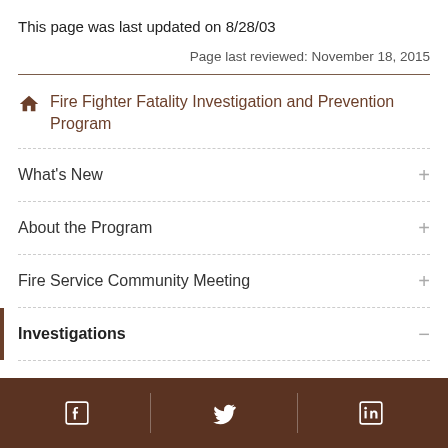This page was last updated on 8/28/03
Page last reviewed: November 18, 2015
Fire Fighter Fatality Investigation and Prevention Program
What's New
About the Program
Fire Service Community Meeting
Investigations
Facebook | Twitter | LinkedIn